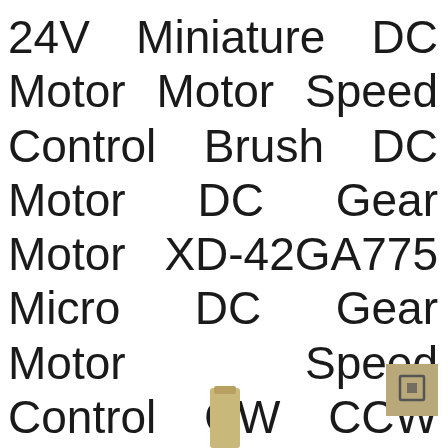24V Miniature DC Motor Motor Speed Control Brush DC Motor DC Gear Motor XD-42GA775 Micro DC Gear Motor Speed Control CW CCW DC Motor 12V 30RPM-24V Gear Motor
[Figure (photo): Partial image of a small cylindrical DC gear motor shaft visible at bottom center, with a small tan/gold colored thumbnail icon in the bottom right corner]